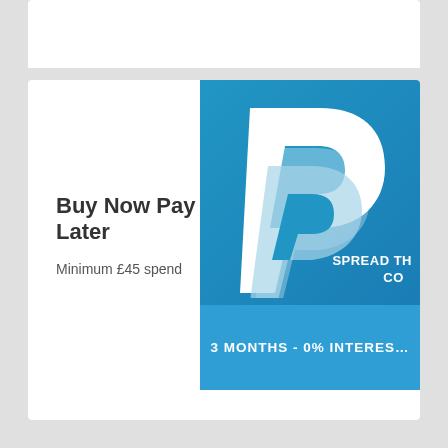Buy Now Pay Later
Minimum £45 spend
[Figure (infographic): PayPal Buy Now Pay Later promotional banner showing the PayPal logo (stylised white P on blue background), text 'SPREAD THE COST' and '3 MONTHS - 0% INTEREST']